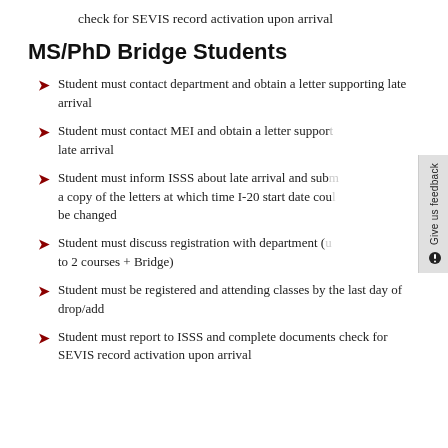check for SEVIS record activation upon arrival
MS/PhD Bridge Students
Student must contact department and obtain a letter supporting late arrival
Student must contact MEI and obtain a letter supporting late arrival
Student must inform ISSS about late arrival and submit a copy of the letters at which time I-20 start date could be changed
Student must discuss registration with department (up to 2 courses + Bridge)
Student must be registered and attending classes by the last day of drop/add
Student must report to ISSS and complete documents check for SEVIS record activation upon arrival